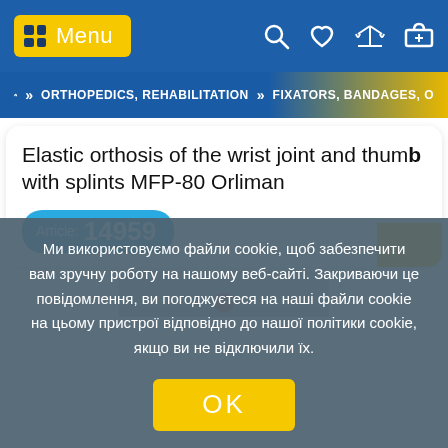Menu navigation bar with search, wishlist, compare and cart icons
» ORTHOPEDICS, REHABILITATION » FIXATORS, BANDAGES, O
Elastic orthosis of the wrist joint and thumb with splints MFP-80 Orliman
Article: 14959
[Figure (photo): Partial product image visible behind cookie consent overlay]
Ми використовуємо файли cookie, щоб забезпечити вам зручну роботу на нашому веб-сайті. Закриваючи це повідомлення, ви погоджуєтеся на наші файли cookie на цьому пристрої відповідно до нашої політики cookie, якщо ви не відключили їх.
OK